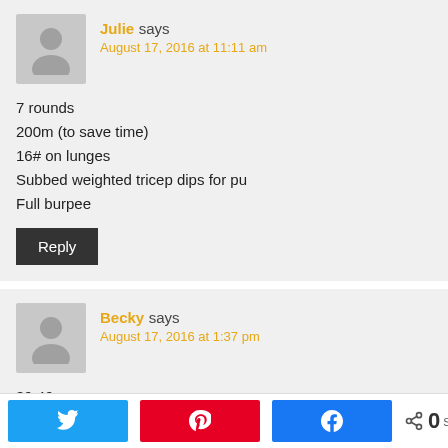Julie says
August 17, 2016 at 11:11 am
7 rounds
200m (to save time)
16# on lunges
Subbed weighted tricep dips for pu
Full burpee
Reply
Becky says
August 17, 2016 at 1:37 pm
39:49
Treadmill runs at 7.5
4 rounds jumping pull ups, 3 rounds boy push ups